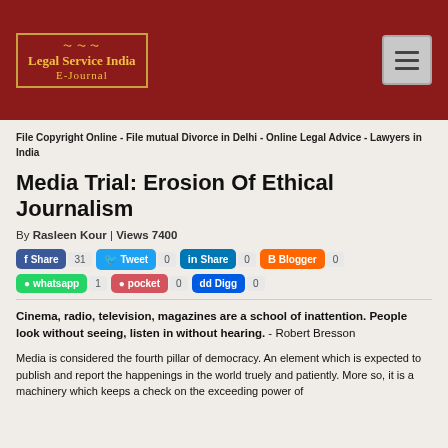[Figure (logo): Legal Service India E-Journal logo with gold border and text on dark red background, with hamburger menu button on right]
File Copyright Online - File mutual Divorce in Delhi - Online Legal Advice - Lawyers in India
Media Trial: Erosion Of Ethical Journalism
By Rasleen Kour | Views 7400
Share 31  Tweet 0  Share 0  Blogger 0  whatsapp 1  pocket 0  Digg 0
Cinema, radio, television, magazines are a school of inattention. People look without seeing, listen in without hearing. - Robert Bresson
Media is considered the fourth pillar of democracy. An element which is expected to publish and report the happenings in the world truely and patiently. More so, it is a machinery which keeps a check on the exceeding power of